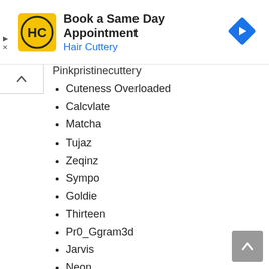[Figure (screenshot): Hair Cuttery advertisement banner: yellow square logo with HC monogram, title 'Book a Same Day Appointment', subtitle 'Hair Cuttery' in blue, blue diamond navigation arrow on right]
Pinkpristinecuttery (partial, cut off)
Cuteness Overloaded
Calcvlate
Matcha
Tujaz
Zeqinz
Sympo
Goldie
Thirteen
Pr0_Ggram3d
Jarvis
Neon
Rekon
Tequan